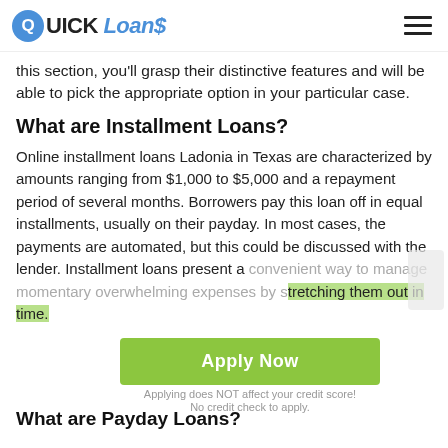QUICK Loans
this section, you'll grasp their distinctive features and will be able to pick the appropriate option in your particular case.
What are Installment Loans?
Online installment loans Ladonia in Texas are characterized by amounts ranging from $1,000 to $5,000 and a repayment period of several months. Borrowers pay this loan off in equal installments, usually on their payday. In most cases, the payments are automated, but this could be discussed with the lender. Installment loans present a convenient way to manage momentary overwhelming expenses by stretching them out in time.
[Figure (other): Green Apply Now button with subtext: Applying does NOT affect your credit score! No credit check to apply.]
What are Payday Loans?
This type of financial aid is the top pick for a short-term